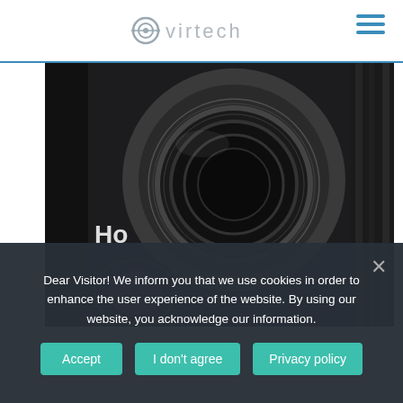virtech
[Figure (photo): Close-up photo of camera lenses with black lens rings and purple lens elements visible]
Dear Visitor! We inform you that we use cookies in order to enhance the user experience of the website. By using our website, you acknowledge our information.
Accept | I don't agree | Privacy policy